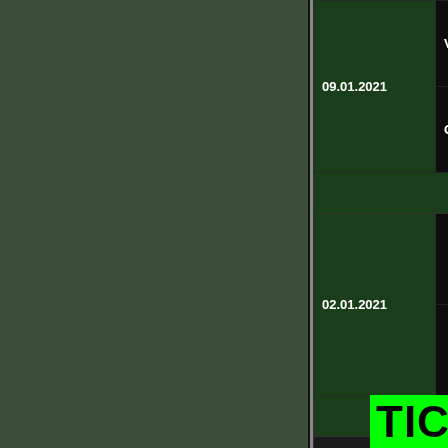| Date | Info |
| --- | --- |
| 09.01.2021 | VfL Os
G |
| Total o |  |
| 02.01.2021 |  |
| Total o |  |
|  |  |
TICKET (